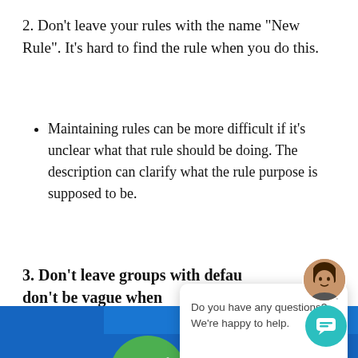2. Don’t leave your rules with the name “New Rule”. It’s hard to find the rule when you do this.
Maintaining rules can be more difficult if it’s unclear what that rule should be doing. The description can clarify what the rule purpose is supposed to be.
3. Don’t leave groups with default names and don’t be vague when…
[Figure (screenshot): Chat support popup with avatar photo of a woman, close button (x), and text: 'Do you have any questions? We’re happy to help.' with a teal chat button in the lower right.]
[Figure (screenshot): Bottom portion of a blue UI panel showing a green circle with white checkmark and a red circle with white X, partially obscured by the chat overlay.]